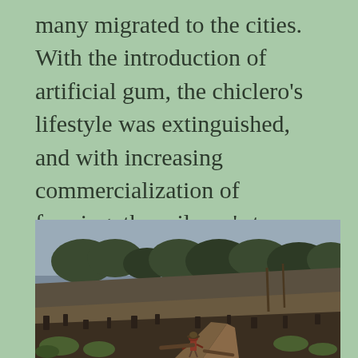many migrated to the cities. With the introduction of artificial gum, the chiclero's lifestyle was extinguished, and with increasing commercialization of farming, the milpero's too would soon follow.
[Figure (photo): A person works in a cleared and burned deforested landscape, with stumps and debris scattered across the hillside. The scene shows environmental destruction with bare earth and a road or path visible.]